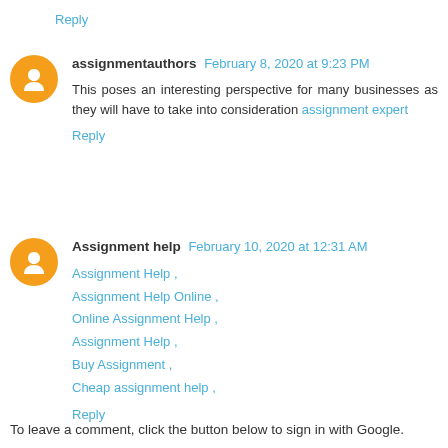Reply
assignmentauthors February 8, 2020 at 9:23 PM
This poses an interesting perspective for many businesses as they will have to take into consideration assignment expert
Reply
Assignment help February 10, 2020 at 12:31 AM
Assignment Help ,
Assignment Help Online ,
Online Assignment Help ,
Assignment Help ,
Buy Assignment ,
Cheap assignment help ,
Reply
To leave a comment, click the button below to sign in with Google.